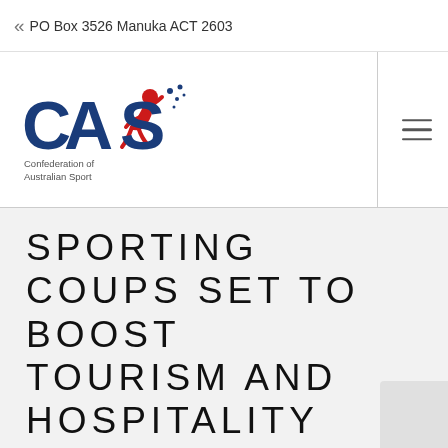PO Box 3526 Manuka ACT 2603
[Figure (logo): Confederation of Australian Sport (CAS) logo with stylized figure and star dots, blue and red colors]
SPORTING COUPS SET TO BOOST TOURISM AND HOSPITALITY INDUSTRY